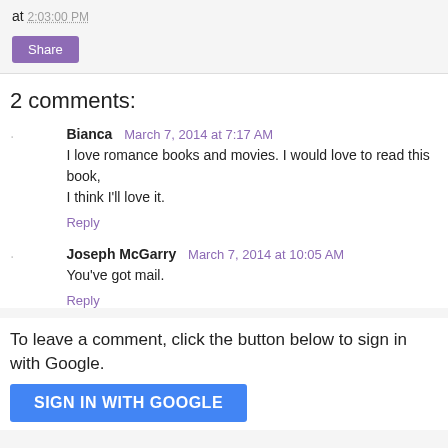at 2:03:00 PM
Share
2 comments:
Bianca  March 7, 2014 at 7:17 AM
I love romance books and movies. I would love to read this book, I think I'll love it.
Reply
Joseph McGarry  March 7, 2014 at 10:05 AM
You've got mail.
Reply
To leave a comment, click the button below to sign in with Google.
SIGN IN WITH GOOGLE